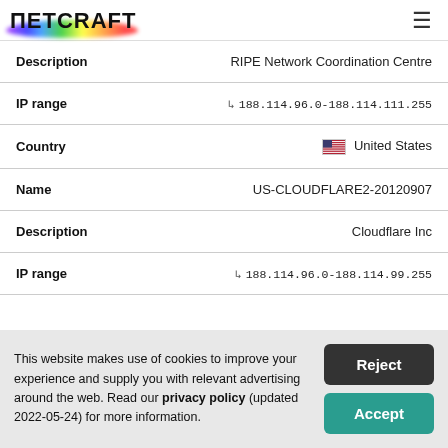Netcraft
| Field | Value |
| --- | --- |
| Description | RIPE Network Coordination Centre |
| IP range | ↳ 188.114.96.0-188.114.111.255 |
| Country | 🇺🇸 United States |
| Name | US-CLOUDFLARE2-20120907 |
| Description | Cloudflare Inc |
| IP range | ↳ 188.114.96.0-188.114.99.255 |
This website makes use of cookies to improve your experience and supply you with relevant advertising around the web. Read our privacy policy (updated 2022-05-24) for more information.